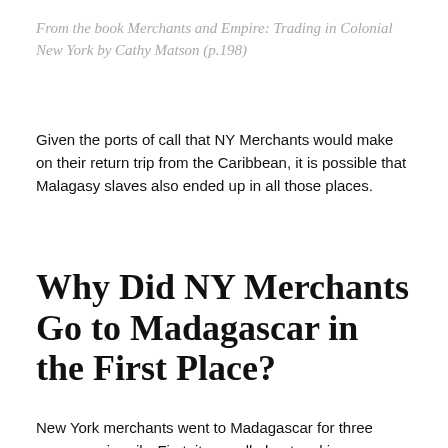From the book Merchants and Empire: Trading in Colonial New York by Cathy Matson (p.198)
Given the ports of call that NY Merchants would make on their return trip from the Caribbean, it is possible that Malagasy slaves also ended up in all those places.
Why Did NY Merchants Go to Madagascar in the First Place?
New York merchants went to Madagascar for three reasons primarily. First, it was all about making an even larger